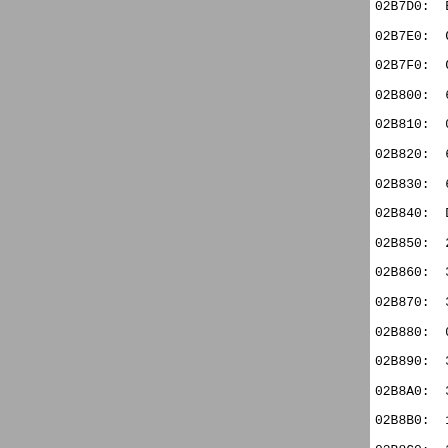[Figure (other): Gray panel on the left side of the page, approximately 370px wide, serving as a background or sidebar element.]
02B7D0:  E1 4E 46 71 9D 7F 7E 7F 95
02B7E0:  C8 5E 33 BF 23 04 D6 17 A4
02B7F0:  C2 BF A7 6B 04 D7 97 E4 3F
02B800:  61 6C 69 65 72 73 22 01 9F
02B810:  00 E1 EF 22 2E 2E 2E 53 6F
02B820:  69 74 20 64 65 70 61 73 73
02B830:  6F 62 65 20 75 73 65 65 2E
02B840:  DE FF 00 0A 00 A8 2F 9F 20
02B850:  2F 9F 20 1E E0 12 00 06 00
02B860:  32 C5 00 0A 00 2C 33 9F 20
02B870:  33 9F 20 1E E0 12 00 0A 00
02B880:  00 06 00 4C 36 C9 00 06 00
02B890:  37 9F 20 1E E4 12 00 06 00
02B8A0:  3A C5 00 37 00 FC 3A A1 20
02B8B0:  1A DC 02 20 EB 20 03 00 00
02B8C0:  20 65 74 65 73 20 64 61 6E
02B8D0:  6C 6C 22 01 A0 20 1E DE FF
02B8E0:  1E E6 12 00 06 00 1C 3E C9
02B8F0:  1E CA 12 00 3B 00 E4 3E A1
02B900:  EF 1A DC 02 20 EB 20 03 00
02B910:  73 74 20 75 6E 20 73 61 6C
02B920:  7A 20 63 6F 73 73 75 22 01
02B930:  00 48 3F 9F 20 1E EA 12 00
02B940:  E6 12 00 66 00 5C 3F A1 20
02B950:  1A DD 02 20 FA 20 FF 12 28
02B960:  28 1C 00 A0 29 20 EB 20 03
02B970:  20 66 75 73 69 6C 22 01 9F
02B980:  00 E1 EF 22 2E 2E 2E 65 74
02B990:  69 74 65 20 64 65 20 63 61
02B9A0:  73 22 01 A0 20 1E DE FF 00